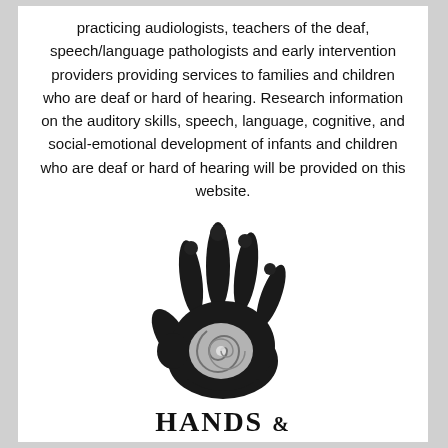practicing audiologists, teachers of the deaf, speech/language pathologists and early intervention providers providing services to families and children who are deaf or hard of hearing. Research information on the auditory skills, speech, language, cognitive, and social-emotional development of infants and children who are deaf or hard of hearing will be provided on this website.
[Figure (logo): Hands & Voices logo: a dark handprint with a silver spiral in the palm, above the text HANDS & VOICES with a TM mark.]